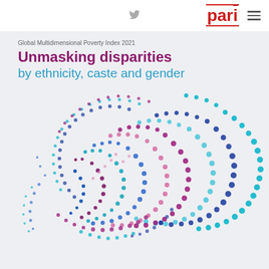pari
Global Multidimensional Poverty Index 2021
Unmasking disparities by ethnicity, caste and gender
[Figure (illustration): Decorative circular dot pattern made of multicolored dots (blue, teal, magenta/purple, pink) arranged in concentric spiral arcs forming a sphere-like illustration representing diversity and multidimensionality.]